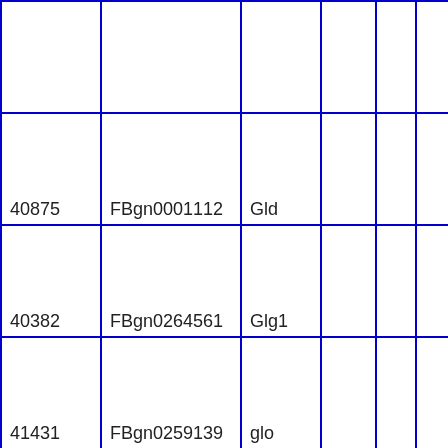|  |  |  |  |  |  |
| 40875 | FBgn0001112 | Gld |  |  |  |
| 40382 | FBgn0264561 | Glg1 |  |  |  |
| 41431 | FBgn0259139 | glo |  |  |  |